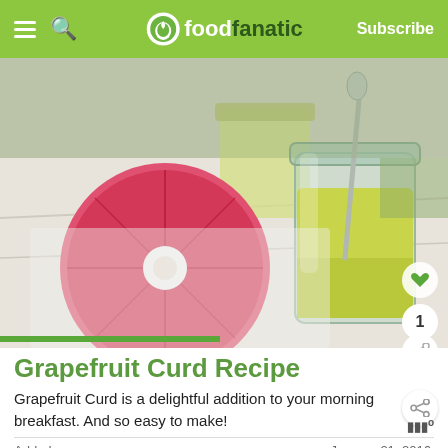foodfanatic — Subscribe
[Figure (photo): Photo of grapefruit curd in a glass mason jar with a spoon, next to a halved red grapefruit, on a white cloth background.]
Grapefruit Curd Recipe
Grapefruit Curd is a delightful addition to your morning breakfast. And so easy to make!
Added:                                                January 21, 2016
[Figure (infographic): Advertisement banner: 'You can help hungry kids.' with No Kid Hungry logo and LEARN HOW button.]